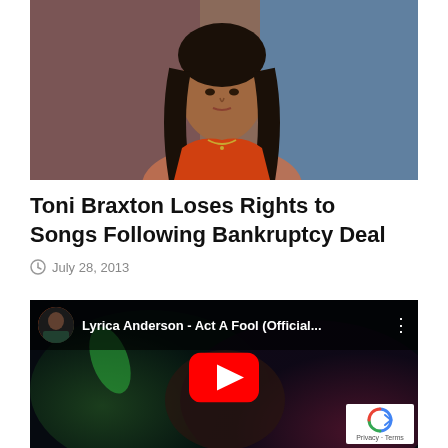[Figure (photo): Photo of Toni Braxton, a woman with long dark hair wearing an orange outfit, photographed against a brown and blue background]
Toni Braxton Loses Rights to Songs Following Bankruptcy Deal
July 28, 2013
[Figure (screenshot): YouTube video embed showing 'Lyrica Anderson - Act A Fool (Official...' with a red play button in the center and a reCAPTCHA badge in the bottom right corner]